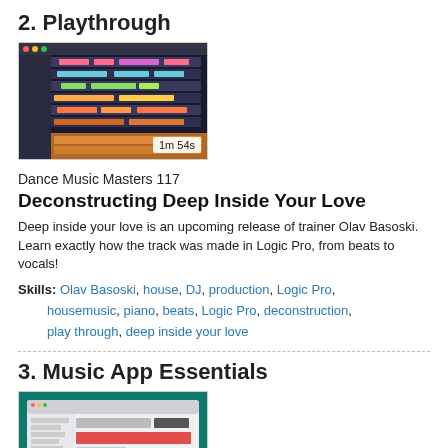2. Playthrough
[Figure (screenshot): Screenshot of Logic Pro DAW showing colorful MIDI tracks, duration badge '1m 54s']
Dance Music Masters 117
Deconstructing Deep Inside Your Love
Deep inside your love is an upcoming release of trainer Olav Basoski. Learn exactly how the track was made in Logic Pro, from beats to vocals!
Skills: Olav Basoski, house, DJ, production, Logic Pro, housemusic, piano, beats, Logic Pro, deconstruction, play through, deep inside your love
3. Music App Essentials
[Figure (screenshot): Screenshot of macOS Music App interface with teal background, duration badge '4m 0s']
macOS Monterey 101